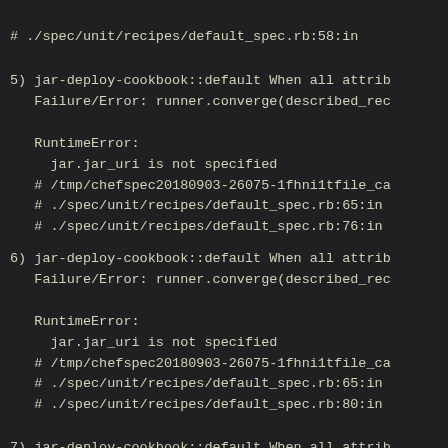# ./spec/unit/recipes/default_spec.rb:58:in
5) jar-deploy-cookbook::default When all attrib
   Failure/Error: runner.converge(described_rec

   RuntimeError:
     jar.jar_uri is not specified
   # /tmp/chefspec20180903-26075-1fhni1tfile_ca
   # ./spec/unit/recipes/default_spec.rb:65:in
   # ./spec/unit/recipes/default_spec.rb:76:in
6) jar-deploy-cookbook::default When all attrib
   Failure/Error: runner.converge(described_rec

   RuntimeError:
     jar.jar_uri is not specified
   # /tmp/chefspec20180903-26075-1fhni1tfile_ca
   # ./spec/unit/recipes/default_spec.rb:65:in
   # ./spec/unit/recipes/default_spec.rb:80:in
7) jar-deploy-cookbook::default When all attrib